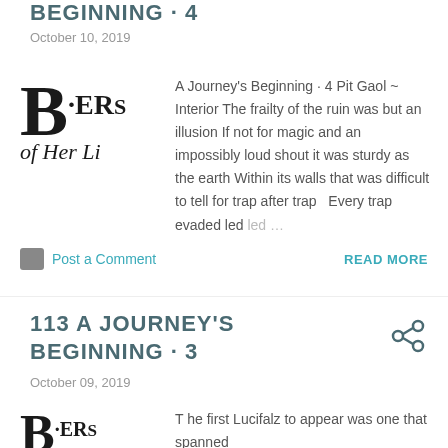Beginning · 4
October 10, 2019
A Journey's Beginning · 4 Pit Gaol ~ Interior The frailty of the ruin was but an illusion If not for magic and an impossibly loud shout it was sturdy as the earth Within its walls that was difficult to tell for trap after trap   Every trap evaded led …
Post a Comment
READ MORE
113 A Journey's Beginning · 3
October 09, 2019
The first Lucifalz to appear was one that spanned even the sky and distorted the world in…